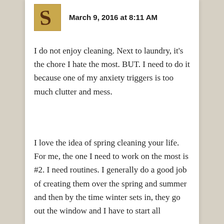March 9, 2016 at 8:11 AM
I do not enjoy cleaning. Next to laundry, it’s the chore I hate the most. BUT. I need to do it because one of my anxiety triggers is too much clutter and mess.
I love the idea of spring cleaning your life. For me, the one I need to work on the most is #2. I need routines. I generally do a good job of creating them over the spring and summer and then by the time winter sets in, they go out the window and I have to start all